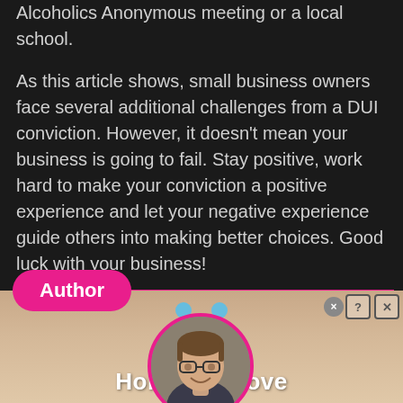Alcoholics Anonymous meeting or a local school.
As this article shows, small business owners face several additional challenges from a DUI conviction. However, it doesn't mean your business is going to fail. Stay positive, work hard to make your conviction a positive experience and let your negative experience guide others into making better choices. Good luck with your business!
Author
[Figure (photo): Circular author profile photo of a young man with glasses, smiling, with a pink/magenta circular border]
[Figure (screenshot): Advertisement banner for 'Hold and Move' app showing two blue stick figures, with close/help buttons in top right corner, on a wooden surface background]